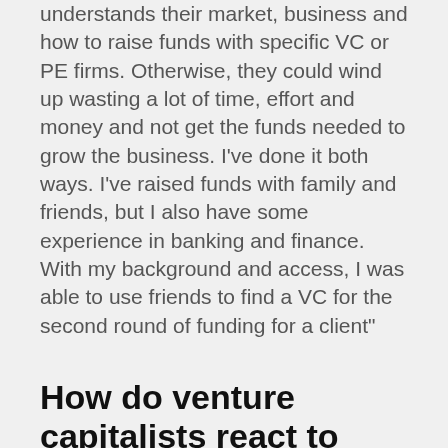understands their market, business and how to raise funds with specific VC or PE firms. Otherwise, they could wind up wasting a lot of time, effort and money and not get the funds needed to grow the business. I've done it both ways. I've raised funds with family and friends, but I also have some experience in banking and finance. With my background and access, I was able to use friends to find a VC for the second round of funding for a client"
How do venture capitalists react to hearing about a new company from a